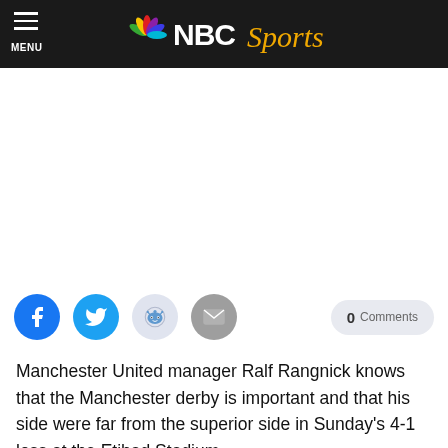MENU | NBC Sports
[Figure (other): Advertisement/blank white space placeholder]
[Figure (other): Social share buttons: Facebook, Twitter, Reddit, Email, and 0 Comments button]
Manchester United manager Ralf Rangnick knows that the Manchester derby is important and that his side were far from the superior side in Sunday's 4-1 loss at the Etihad Stadium.